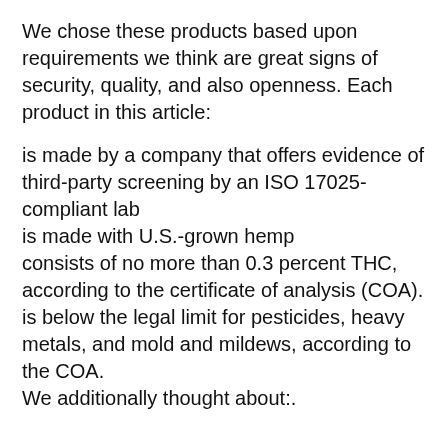We chose these products based upon requirements we think are great signs of security, quality, and also openness. Each product in this article:
is made by a company that offers evidence of third-party screening by an ISO 17025-compliant lab
is made with U.S.-grown hemp
consists of no more than 0.3 percent THC, according to the certificate of analysis (COA).
is below the legal limit for pesticides, heavy metals, and mold and mildews, according to the COA.
We additionally thought about:.
company accreditations and manufacturing processes.
item potency.